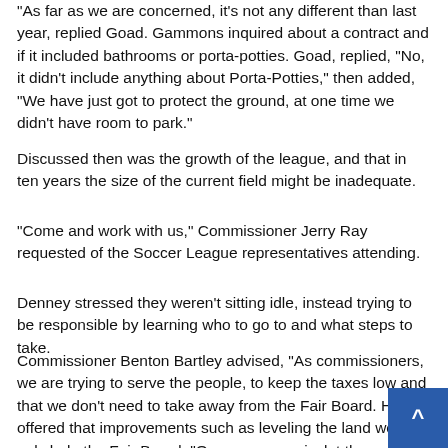“As far as we are concerned, it’s not any different than last year,” replied Goad. Gammons inquired about a contract and if it included bathrooms or porta-potties. Goad, replied, “No, it didn’t include anything about Porta-Potties,” then added, “We have just got to protect the ground, at one time we didn't have room to park.”
Discussed then was the growth of the league, and that in ten years the size of the current field might be inadequate.
"Come and work with us," Commissioner Jerry Ray requested of the Soccer League representatives attending.
Denney stressed they weren't sitting idle, instead trying to be responsible by learning who to go to and what steps to take.
Commissioner Benton Bartley advised, “As commissioners, we are trying to serve the people, to keep the taxes low and that we don’t need to take away from the Fair Board. He offered that improvements such as leveling the land would only help the Fair Board. “Our consensus is, let them play here while we’re looking.”
“We realize we’re just caretakers,” Goad remarked, and then